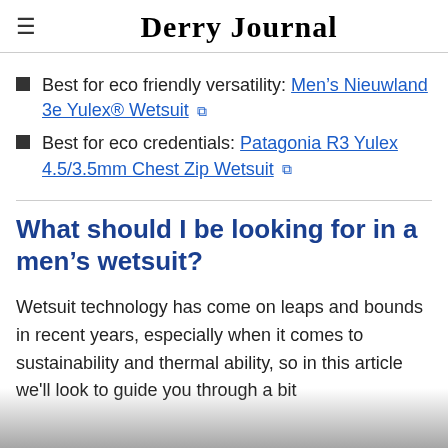≡  Derry Journal
Best for eco friendly versatility: Men's Nieuwland 3e Yulex® Wetsuit [external link]
Best for eco credentials: Patagonia R3 Yulex 4.5/3.5mm Chest Zip Wetsuit [external link]
What should I be looking for in a men's wetsuit?
Wetsuit technology has come on leaps and bounds in recent years, especially when it comes to sustainability and thermal ability, so in this article we'll look to guide you through a bit